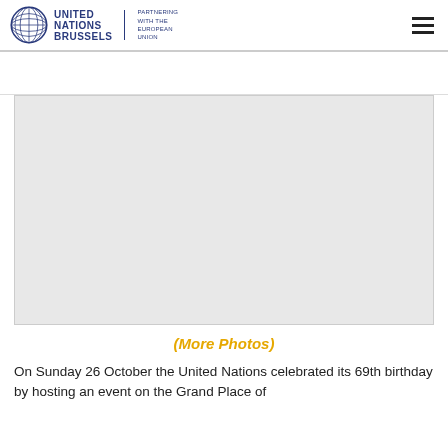United Nations Brussels | Partnering with the European Union
[Figure (photo): Large placeholder/blank image area representing a photo gallery item on the United Nations Brussels webpage]
(More Photos)
On Sunday 26 October the United Nations celebrated its 69th birthday by hosting an event on the Grand Place of